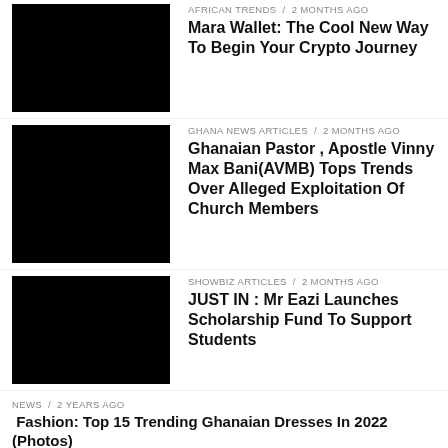AFRICAN TRENDS / 2 months ago
Mara Wallet: The Cool New Way To Begin Your Crypto Journey
GHANA NEWS ARTICLES / 2 months ago
Ghanaian Pastor , Apostle Vinny Max Bani(AVMB) Tops Trends Over Alleged Exploitation Of Church Members
SHOWBIZ ARTICLES / 2 months ago
JUST IN : Mr Eazi Launches Scholarship Fund To Support Students
NEWS / 2 years ago
 Fashion: Top 15 Trending Ghanaian Dresses In 2022 (Photos)
DATE RUSH GH / 1 year ago
Sika No Ahyi: Fatima Gets Broken-heart After Promising To Give Her School Fees For Love [Video+Photos]
WORLD SPORTS / 1 year ago
OFFICIAL : Man United Agree Deal For The Return